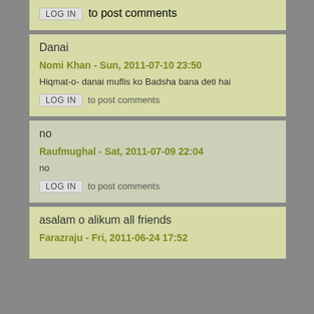LOG IN to post comments
Danai
Nomi Khan - Sun, 2011-07-10 23:50
Hiqmat-o- danai muflis ko Badsha bana deti hai
LOG IN to post comments
no
Raufmughal - Sat, 2011-07-09 22:04
no
LOG IN to post comments
asalam o alikum all friends
Farazraju - Fri, 2011-06-24 17:52